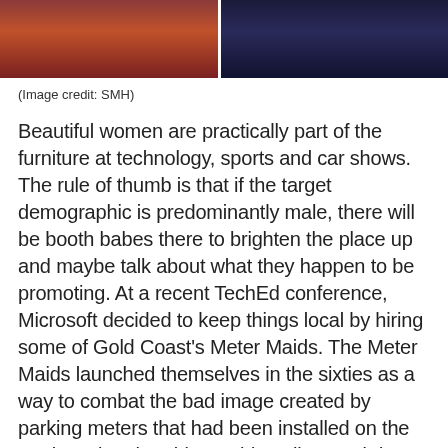[Figure (photo): Two cropped photos side by side showing people at what appears to be an event or conference, partially visible at the top of the page.]
(Image credit: SMH)
Beautiful women are practically part of the furniture at technology, sports and car shows. The rule of thumb is that if the target demographic is predominantly male, there will be booth babes there to brighten the place up and maybe talk about what they happen to be promoting. At a recent TechEd conference, Microsoft decided to keep things local by hiring some of Gold Coast's Meter Maids. The Meter Maids launched themselves in the sixties as a way to combat the bad image created by parking meters that had been installed on the tourist strip. The girls would stroll up and down the strip, feeding meters with coins and leaving calling cards under drivers'